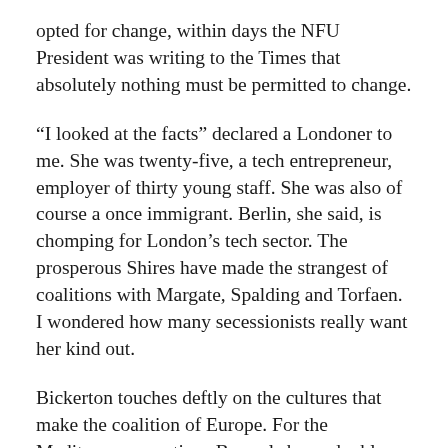opted for change, within days the NFU President was writing to the Times that absolutely nothing must be permitted to change.
“I looked at the facts” declared a Londoner to me. She was twenty-five, a tech entrepreneur, employer of thirty young staff. She was also of course a once immigrant. Berlin, she said, is chomping for London’s tech sector. The prosperous Shires have made the strangest of coalitions with Margate, Spalding and Torfaen. I wondered how many secessionists really want her kind out.
Bickerton touches deftly on the cultures that make the coalition of Europe. For the Mediterranean nations Brussels has a double identity. Firstly it is rejection of rule by soldiers. Within living memory Spain, Greece and Portugal have all been dictatorships. More importantly